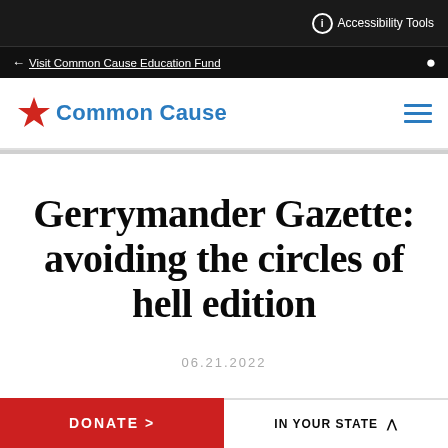Accessibility Tools
← Visit Common Cause Education Fund
[Figure (logo): Common Cause logo with red star and blue text]
Gerrymander Gazette: avoiding the circles of hell edition
06.21.2022
DONATE > | IN YOUR STATE ^